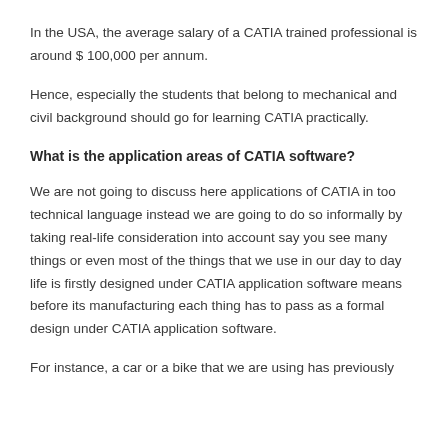In the USA, the average salary of a CATIA trained professional is around $ 100,000 per annum.
Hence, especially the students that belong to mechanical and civil background should go for learning CATIA practically.
What is the application areas of CATIA software?
We are not going to discuss here applications of CATIA in too technical language instead we are going to do so informally by taking real-life consideration into account say you see many things or even most of the things that we use in our day to day life is firstly designed under CATIA application software means before its manufacturing each thing has to pass as a formal design under CATIA application software.
For instance, a car or a bike that we are using has previously